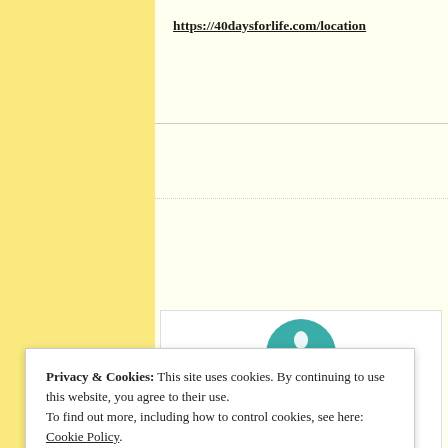https://40daysforlife.com/location
[Figure (logo): 40 Days for Life circular logo with teal background and figure icon, with the number 40]
40 DAYS FOR LIFE UPDA
Privacy & Cookies: This site uses cookies. By continuing to use this website, you agree to their use.
To find out more, including how to control cookies, see here: Cookie Policy
Close and accept